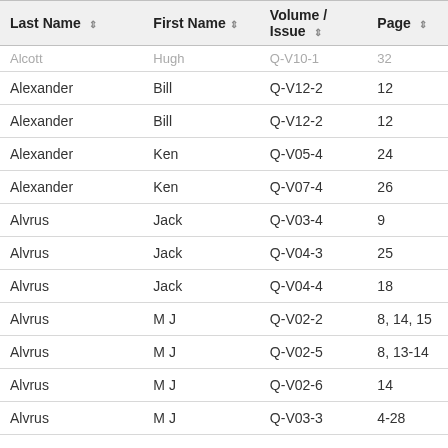| Last Name | First Name | Volume / Issue | Page |
| --- | --- | --- | --- |
| Alcott | Hugh | Q-V10-1 | 32 |
| Alexander | Bill | Q-V12-2 | 12 |
| Alexander | Bill | Q-V12-2 | 12 |
| Alexander | Ken | Q-V05-4 | 24 |
| Alexander | Ken | Q-V07-4 | 26 |
| Alvrus | Jack | Q-V03-4 | 9 |
| Alvrus | Jack | Q-V04-3 | 25 |
| Alvrus | Jack | Q-V04-4 | 18 |
| Alvrus | M J | Q-V02-2 | 8, 14, 15 |
| Alvrus | M J | Q-V02-5 | 8, 13-14 |
| Alvrus | M J | Q-V02-6 | 14 |
| Alvrus | M J | Q-V03-3 | 4-28 |